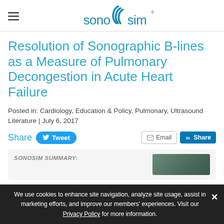[Figure (logo): SonoSim logo with blue wave icon and 'sonosim' text in blue]
Resolution of Sonographic B-lines as a Measure of Pulmonary Decongestion in Acute Heart Failure
Posted in: Cardiology, Education & Policy, Pulmonary, Ultrasound Literature | July 6, 2017
Share [Tweet] [Email] [Share]
SONOSIM SUMMARY:
We use cookies to enhance site navigation, analyze site usage, assist in marketing efforts, and improve our members' experiences. Visit our Privacy Policy for more information.